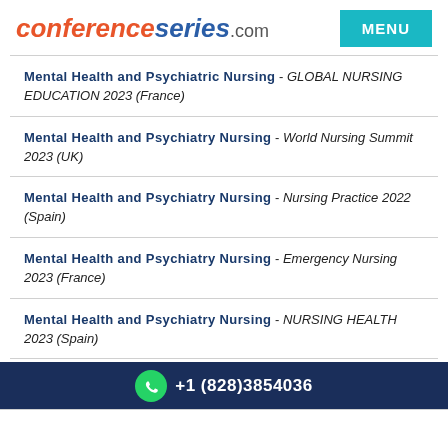conferenceseries.com | MENU
Mental Health and Psychiatric Nursing - GLOBAL NURSING EDUCATION 2023 (France)
Mental Health and Psychiatry Nursing - World Nursing Summit 2023 (UK)
Mental Health and Psychiatry Nursing - Nursing Practice 2022 (Spain)
Mental Health and Psychiatry Nursing - Emergency Nursing 2023 (France)
Mental Health and Psychiatry Nursing - NURSING HEALTH 2023 (Spain)
Mental health and psychiatry nursing - (partial, cut off)
+1 (828)3854036